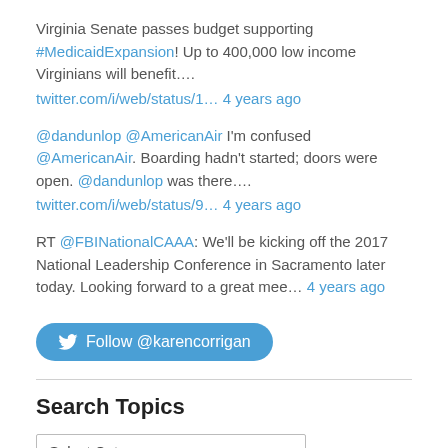Virginia Senate passes budget supporting #MedicaidExpansion! Up to 400,000 low income Virginians will benefit…. twitter.com/i/web/status/1… 4 years ago
@dandunlop @AmericanAir I'm confused @AmericanAir. Boarding hadn't started; doors were open. @dandunlop was there…. twitter.com/i/web/status/9… 4 years ago
RT @FBINationalCAAA: We'll be kicking off the 2017 National Leadership Conference in Sacramento later today. Looking forward to a great mee… 4 years ago
[Figure (other): Follow @karencorrigan Twitter button]
Search Topics
Select Category dropdown